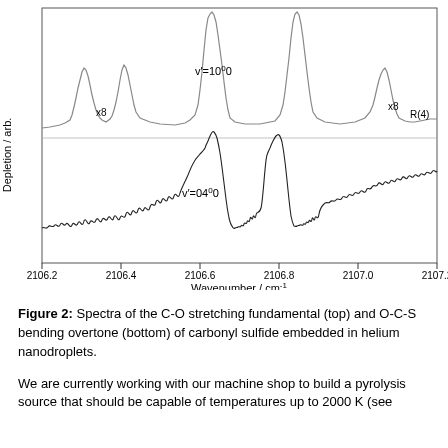[Figure (continuous-plot): Two spectra stacked vertically. Top trace (smooth, gray line): C-O stretching fundamental, labeled v'=10^0 0, with x8 scale markers on each side. Bottom trace (noisy, black line): O-C-S bending overtone, labeled v'=04^0 0. X-axis: Wavenumber / cm^-1, ranging from ~2106.2 to ~2107.2. Y-axis: Depletion / arb. R(4) label on far right of top trace. Both show several sharp peaks.]
Figure 2: Spectra of the C-O stretching fundamental (top) and O-C-S bending overtone (bottom) of carbonyl sulfide embedded in helium nanodroplets.
We are currently working with our machine shop to build a pyrolysis source that should be capable of temperatures up to 2000 K (see figure 4 and the subsequent discussion).